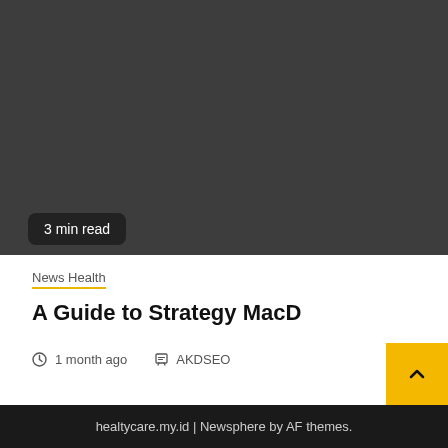[Figure (photo): Dark gray image placeholder area for article thumbnail]
3 min read
News Health
A Guide to Strategy MacD
1 month ago   AKDSEO
healtycare.my.id | Newsphere by AF themes.